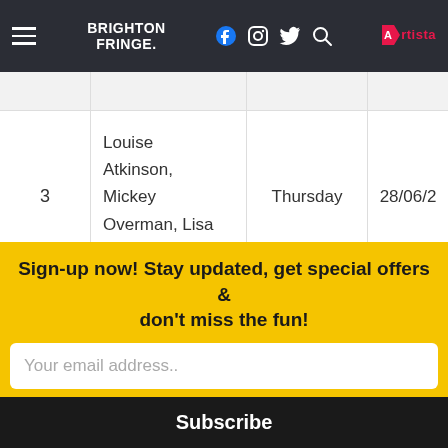Brighton Fringe — Navigation bar with logo, social icons (Facebook, Instagram, Twitter, Search), and Artista branding
| # | Name | Day | Date |
| --- | --- | --- | --- |
| 3 | Louise Atkinson, Mickey Overman, Lisa Klevemark | Thursday | 28/06/2... |
| 4 | Sara Barron & Cassie... | Friday | ... |
Sign-up now! Stay updated, get special offers & don't miss the fun!
Your email address..
Subscribe